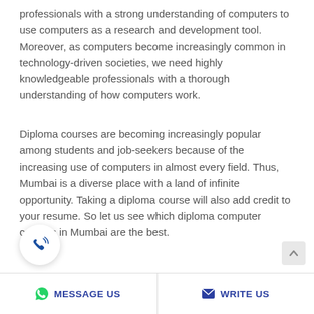professionals with a strong understanding of computers to use computers as a research and development tool. Moreover, as computers become increasingly common in technology-driven societies, we need highly knowledgeable professionals with a thorough understanding of how computers work.
Diploma courses are becoming increasingly popular among students and job-seekers because of the increasing use of computers in almost every field. Thus, Mumbai is a diverse place with a land of infinite opportunity. Taking a diploma course will also add credit to your resume. So let us see which diploma computer courses in Mumbai are the best.
[Figure (other): Phone/call button icon — circular white button with blue phone icon with signal waves]
MESSAGE US   WRITE US